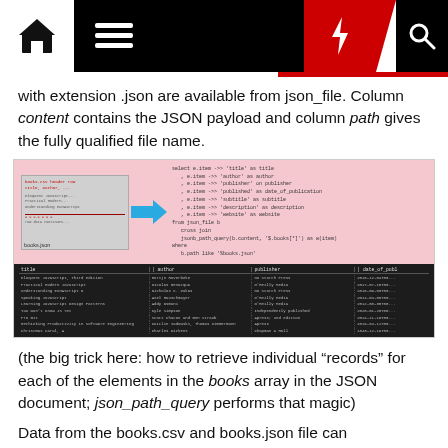Navigation bar with home, menu, bolt, and search icons
with extension .json are available from json_file. Column content contains the JSON payload and column path gives the fully qualified file name.
[Figure (screenshot): Diagram showing a books.json file icon with a blue arrow pointing to a SQL query code block on a pink background, and below it a dark table showing results with columns: title, author, publisher, date_of_publ. The query selects items from json_file using jsonb_path_query on the content column.]
(the big trick here: how to retrieve individual "records" for each of the elements in the books array in the JSON document; json_path_query performs that magic)
Data from the books.csv and books.json file can